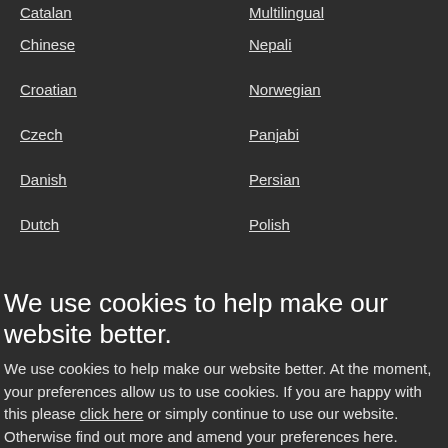Catalan
Multilingual
Chinese
Nepali
Croatian
Norwegian
Czech
Panjabi
Danish
Persian
Dutch
Polish
We use cookies to help make our website better.
We use cookies to help make our website better. At the moment, your preferences allow us to use cookies. If you are happy with this please click here or simply continue to use our website. Otherwise find out more and amend your preferences here.